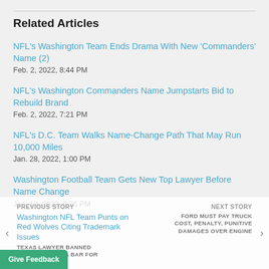Related Articles
NFL’s Washington Team Ends Drama With New ‘Commanders’ Name (2)
Feb. 2, 2022, 8:44 PM
NFL’s Washington Commanders Name Jumpstarts Bid to Rebuild Brand
Feb. 2, 2022, 7:21 PM
NFL’s D.C. Team Walks Name-Change Path That May Run 10,000 Miles
Jan. 28, 2022, 1:00 PM
Washington Football Team Gets New Top Lawyer Before Name Change
Jan. 19, 2022, 6:26 PM
Washington NFL Team Punts on Red Wolves Citing Trademark Issues
PREVIOUS STORY: TEXAS LAWYER BANNED FROM LOUISIANA BAR FOR ING PRACTICE | NEXT STORY: FORD MUST PAY TRUCK COST, PENALTY, PUNITIVE DAMAGES OVER ENGINE